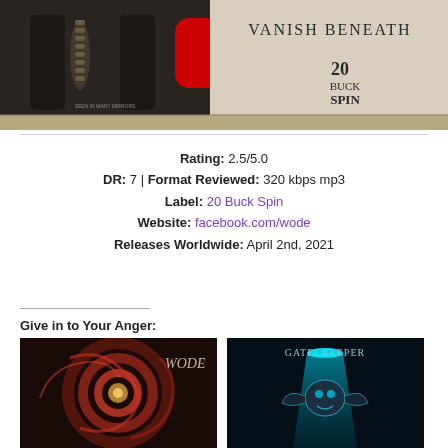[Figure (photo): YouTube thumbnail showing album artwork for 'Vanish Beneath' with a YouTube play button overlay, spine imagery on left, and 20 Buck Spin logo on right]
Rating: 2.5/5.0
DR: 7 | Format Reviewed: 320 kbps mp3
Label: 20 Buck Spin
Website: facebook.com/wode
Releases Worldwide: April 2nd, 2021
Give in to Your Anger:
[Figure (photo): Album cover art - dark swirling red and black with circular center, WODE text visible]
[Figure (photo): Album cover art - teal/cyan sci-fi creature with glowing light beam, Gatecreeper style text]